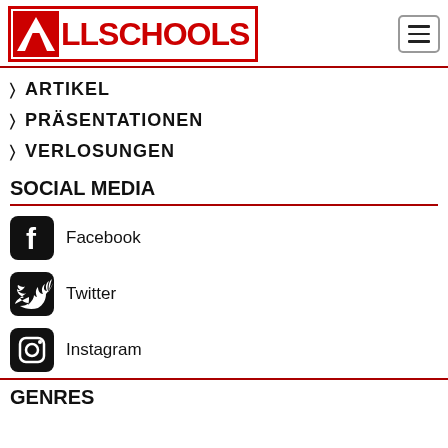[Figure (logo): AllSchools logo with red border and red text]
ARTIKEL
PRÄSENTATIONEN
VERLOSUNGEN
SOCIAL MEDIA
Facebook
Twitter
Instagram
GENRES